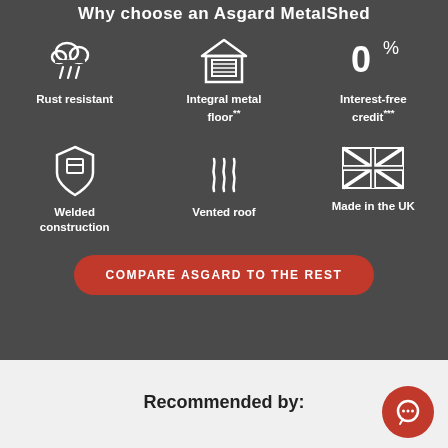Why choose an Asgard MetalShed
[Figure (infographic): Six icons in two rows on dark background: cloud/rain (Rust resistant), house/garage (Integral metal floor**), 0% (Interest-free credit***), shield (Welded construction), heat waves (Vented roof), Union Jack flag (Made in the UK)]
COMPARE ASGARD TO THE REST
Recommended by: